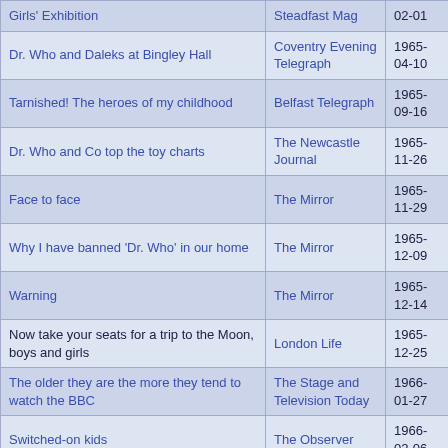| Title | Publication | Date |
| --- | --- | --- |
| Girls' Exhibition | Steadfast Mag | 02-01 |
| Dr. Who and Daleks at Bingley Hall | Coventry Evening Telegraph | 1965-04-10 |
| Tarnished! The heroes of my childhood | Belfast Telegraph | 1965-09-16 |
| Dr. Who and Co top the toy charts | The Newcastle Journal | 1965-11-26 |
| Face to face | The Mirror | 1965-11-29 |
| Why I have banned 'Dr. Who' in our home | The Mirror | 1965-12-09 |
| Warning | The Mirror | 1965-12-14 |
| Now take your seats for a trip to the Moon, boys and girls | London Life | 1965-12-25 |
| The older they are the more they tend to watch the BBC | The Stage and Television Today | 1966-01-27 |
| Switched-on kids | The Observer | 1966-02-06 |
| Is Dr Who Too Cruel For 5.50 pm? | The Mirror | 1966-01-10 |